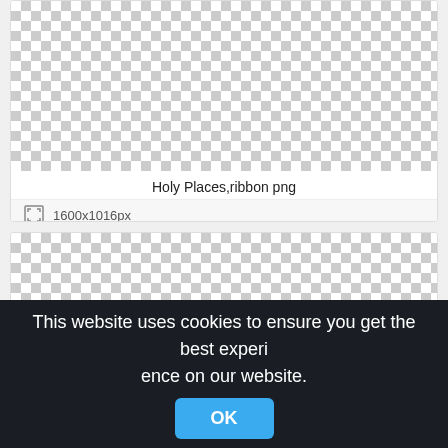[Figure (other): Checkerboard transparency pattern representing a PNG image with transparent background labeled Holy Places,ribbon png]
Holy Places,ribbon png
1600x1016px
[Figure (other): Second checkerboard transparency pattern representing another PNG image]
This website uses cookies to ensure you get the best experience on our website. OK